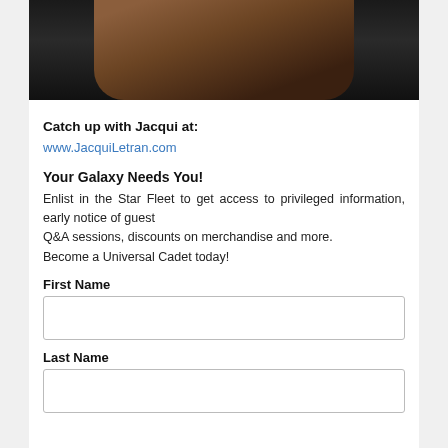[Figure (photo): Photograph of Jacqui Letran, a woman with dark wavy hair wearing a dark floral outfit with a pendant necklace, against a black background]
Catch up with Jacqui at:
www.JacquiLetran.com
Your Galaxy Needs You!
Enlist in the Star Fleet to get access to privileged information, early notice of guest Q&A sessions, discounts on merchandise and more. Become a Universal Cadet today!
First Name
Last Name